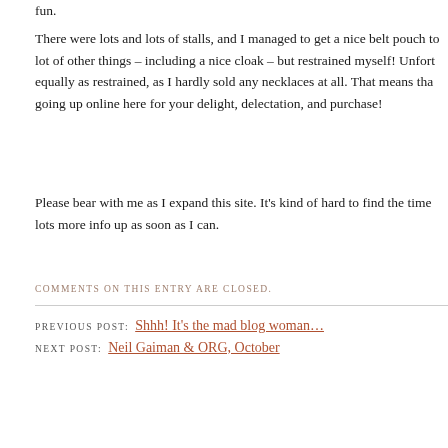fun.
There were lots and lots of stalls, and I managed to get a nice belt pouch to lot of other things – including a nice cloak – but restrained myself! Unfort equally as restrained, as I hardly sold any necklaces at all. That means tha going up online here for your delight, delectation, and purchase!
Please bear with me as I expand this site. It's kind of hard to find the time lots more info up as soon as I can.
COMMENTS ON THIS ENTRY ARE CLOSED.
PREVIOUS POST: Shhh! It's the mad blog woman…
NEXT POST: Neil Gaiman & ORG, October